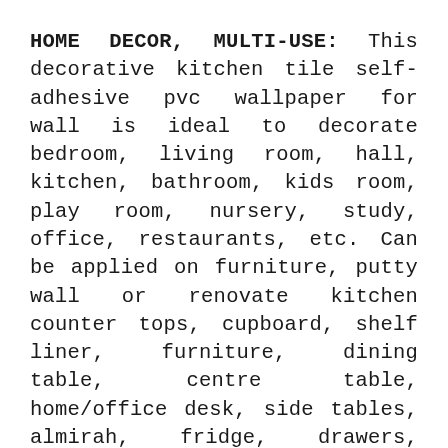HOME DECOR, MULTI-USE: This decorative kitchen tile self-adhesive pvc wallpaper for wall is ideal to decorate bedroom, living room, hall, kitchen, bathroom, kids room, play room, nursery, study, office, restaurants, etc. Can be applied on furniture, putty wall or renovate kitchen counter tops, cupboard, shelf liner, furniture, dining table, centre table, home/office desk, side tables, almirah, fridge, drawers, lamination, and tiles as well.MATERIAL: PVC Vinyl ROLL SIZE: Large Size in cms: 45 x 500 cm [Need 5 Rolls to cover a 10 ft by 10 ft Wall Size.]
SAFE FOR WALLS: This tile stickers contact paper is Removable, Waterproof, Heat resistant, Oil-resistant, Re-positionable and Eco-friendly. Wolpin tiles pattern wall decal is made with High